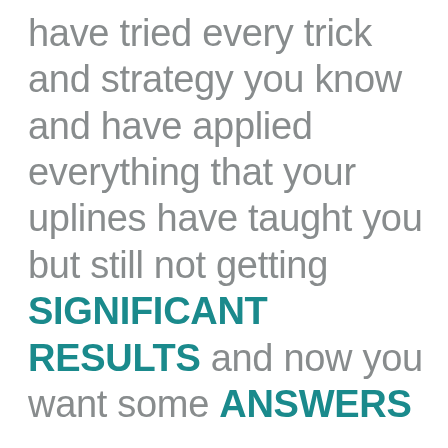have tried every trick and strategy you know and have applied everything that your uplines have taught you but still not getting SIGNIFICANT RESULTS and now you want some ANSWERS